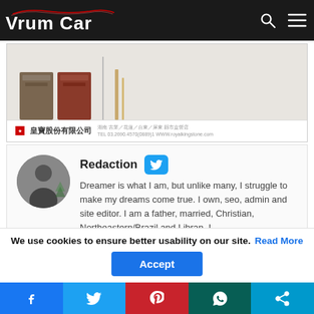Vrum Car
[Figure (photo): Product image showing two boxes (brown and red) beside a vertical divider and a thin gold bar object, with a footer showing a red brand logo, Chinese text 皇寶股份有限公司, and contact/website information.]
Redaction
Dreamer is what I am, but unlike many, I struggle to make my dreams come true. I own, seo, admin and site editor. I am a father, married, Christian, Northeastern/Brazil and Libran. I love cars <3
We use cookies to ensure better usability on our site. Read More
Accept